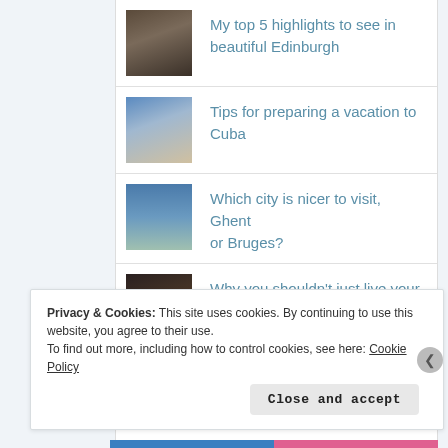My top 5 highlights to see in beautiful Edinburgh
Tips for preparing a vacation to Cuba
Which city is nicer to visit, Ghent or Bruges?
Why you shouldn't just live your life
Privacy & Cookies: This site uses cookies. By continuing to use this website, you agree to their use. To find out more, including how to control cookies, see here: Cookie Policy
Close and accept